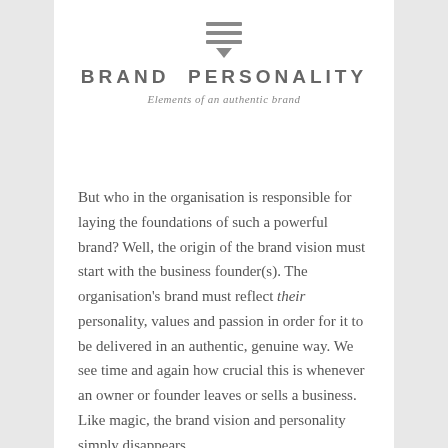[Figure (logo): Three horizontal lines stacked with a downward-pointing chevron/arrow below them, forming a menu/brand icon in gray]
BRAND PERSONALITY
Elements of an authentic brand
But who in the organisation is responsible for laying the foundations of such a powerful brand? Well, the origin of the brand vision must start with the business founder(s). The organisation's brand must reflect their personality, values and passion in order for it to be delivered in an authentic, genuine way. We see time and again how crucial this is whenever an owner or founder leaves or sells a business. Like magic, the brand vision and personality simply disappears...
This phenomenon is all too apparent when we